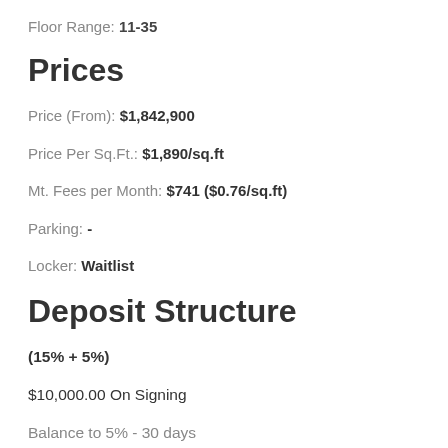Floor Range: 11-35
Prices
Price (From): $1,842,900
Price Per Sq.Ft.: $1,890/sq.ft
Mt. Fees per Month: $741 ($0.76/sq.ft)
Parking: -
Locker: Waitlist
Deposit Structure
(15% + 5%)
$10,000.00 On Signing
Balance to 5% - 30 days